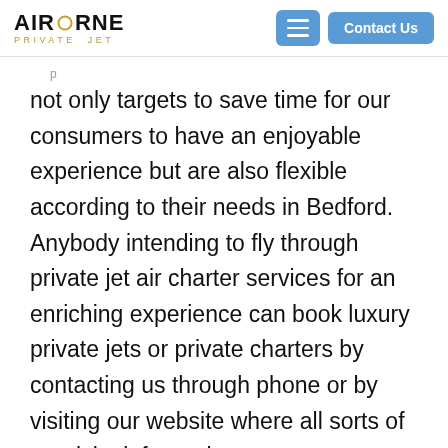AIRBORNE PRIVATE JET — Contact Us
not only targets to save time for our consumers to have an enjoyable experience but are also flexible according to their needs in Bedford. Anybody intending to fly through private jet air charter services for an enriching experience can book luxury private jets or private charters by contacting us through phone or by visiting our website where all sorts of requisite information